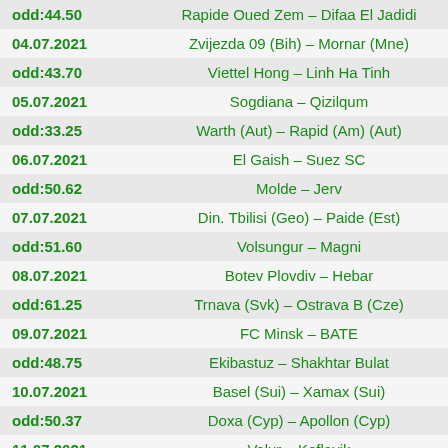|  |  |
| --- | --- |
| odd:44.50 | Rapide Oued Zem – Difaa El Jadidi |
| 04.07.2021 | Zvijezda 09 (Bih) – Mornar (Mne) |
| odd:43.70 | Viettel Hong – Linh Ha Tinh |
| 05.07.2021 | Sogdiana – Qizilqum |
| odd:33.25 | Warth (Aut) – Rapid (Am) (Aut) |
| 06.07.2021 | El Gaish – Suez SC |
| odd:50.62 | Molde – Jerv |
| 07.07.2021 | Din. Tbilisi (Geo) – Paide (Est) |
| odd:51.60 | Volsungur – Magni |
| 08.07.2021 | Botev Plovdiv – Hebar |
| odd:61.25 | Trnava (Svk) – Ostrava B (Cze) |
| 09.07.2021 | FC Minsk – BATE |
| odd:48.75 | Ekibastuz  – Shakhtar Bulat |
| 10.07.2021 | Basel (Sui) – Xamax (Sui) |
| odd:50.37 | Doxa (Cyp) – Apollon (Cyp) |
| 11.07.2021 | Valur – Keflavik |
| odd:42.56 | Ilves  – Oulu |
| 12.07.2021 | St. Johnstone – Annan |
| odd:30.00 | Excelsior Maassluis (Ned) – Telstar (Ned) |
| 13.07.2021 | CFR Cluj (Rou) – Pyunik (Arm) |